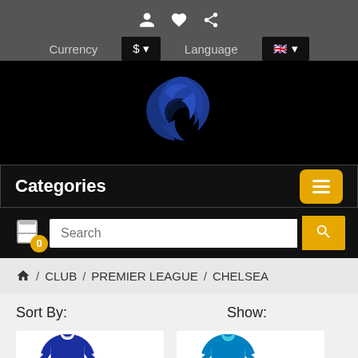Icons row: user, heart, share. Currency: $ (dropdown). Language: UK flag (dropdown).
[Figure (logo): Blue stylized eagle/phoenix logo on black background]
Categories
Search (input field with search button)
🏠 / CLUB / PREMIER LEAGUE / CHELSEA
Sort By:
Show:
[Figure (photo): Chelsea FC dark blue long-sleeve jersey product photo]
[Figure (photo): Chelsea FC bright blue short-sleeve jersey product photo]